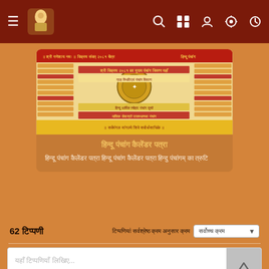Navigation bar with hamburger menu, logo, search, grid, user, settings, and clock icons
[Figure (screenshot): Hindu calendar image displayed in a card]
हिन्दू पंचांग कैलेंडर पत्रा
हिन्दू पंचांग कैलेंडर पत्रा हिन्दू पंचांग कैलेंडर पत्रा हिन्दु पंचांगम् का त्रुटि
62 टिप्पणी
टिप्पणियां सर्वश्रेष्ठ क्रम अनुसार क्रम
यहाँ टिप्पणियाँ लिखिए...
Sivakumar Bala
Namaste
दिखाएं · पसंद करें · इस टिप्पणी पर जवाब दें · ↑